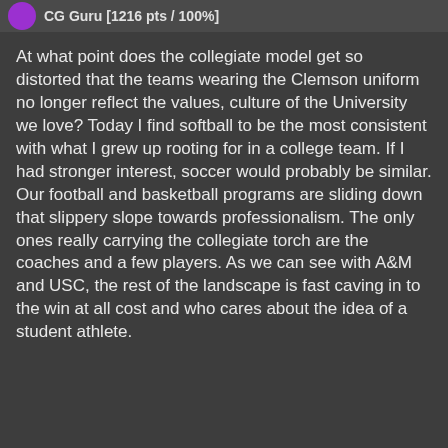CG Guru [1216 pts / 100%]
At what point does the collegiate model get so distorted that the teams wearing the Clemson uniform no longer reflect the values, culture of the University we love? Today I find softball to be the most consistent with what I grew up rooting for in a college team. If I had stronger interest, soccer would probably be similar. Our football and basketball programs are sliding down that slippery slope towards professionalism. The only ones really carrying the collegiate torch are the coaches and a few players. As we can see with A&M and USC, the rest of the landscape is fast caving in to the win at all cost and who cares about the idea of a student athlete.